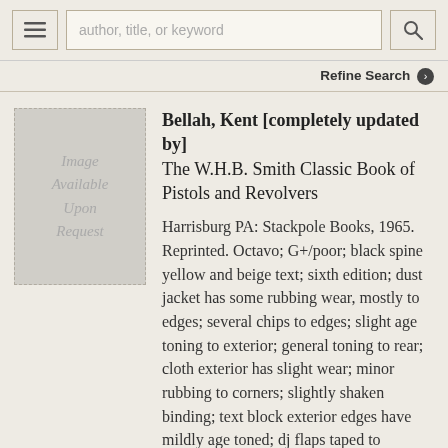author, title, or keyword
Refine Search
[Figure (illustration): Book image placeholder — grey rectangle with dashed border and italic text 'Image Available Upon Request']
Bellah, Kent [completely updated by] The W.H.B. Smith Classic Book of Pistols and Revolvers
Harrisburg PA: Stackpole Books, 1965. Reprinted. Octavo; G+/poor; black spine yellow and beige text; sixth edition; dust jacket has some rubbing wear, mostly to edges; several chips to edges; slight age toning to exterior; general toning to rear; cloth exterior has slight wear; minor rubbing to corners; slightly shaken binding; text block exterior edges have mildly age toned; dj flaps taped to pastedowns; tape offset to endpapers; interior pages good; illustrated; pp 792. More ›